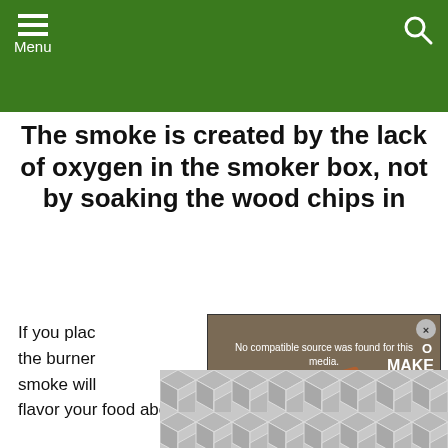Menu
The smoke is created by the lack of oxygen in the smoker box, not by soaking the wood chips in
[Figure (screenshot): Video overlay showing food image with text 'No compatible source was found for this media.' and 'HOW TO MAKE SMOKED CREAM CHEESE MadBackyard.com' with a close X button]
If you plac... ar the burner... smoke will... flavor your food above it.
[Figure (other): Advertisement banner with grey hexagon/cube pattern]